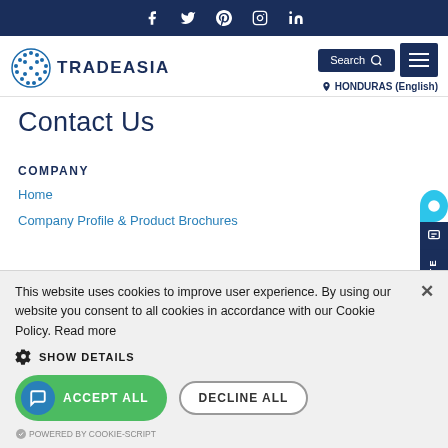Social media bar with icons: Facebook, Twitter, Pinterest, Instagram, LinkedIn
[Figure (logo): Tradeasia logo — globe icon with blue dots and TRADEASIA text]
Search  HONDURAS (English)
Contact Us
COMPANY
Home
Company Profile & Product Brochures
This website uses cookies to improve user experience. By using our website you consent to all cookies in accordance with our Cookie Policy. Read more
SHOW DETAILS
ACCEPT ALL
DECLINE ALL
POWERED BY COOKIE-SCRIPT